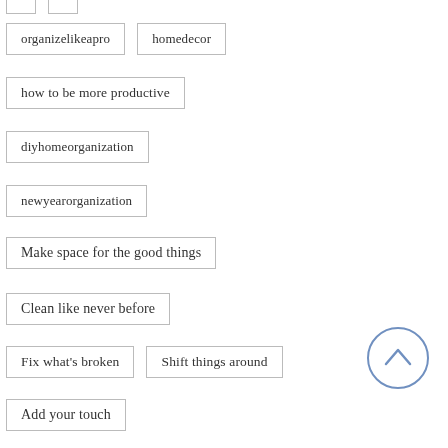organizelikeapro
homedecor
how to be more productive
diyhomeorganization
newyearorganization
Make space for the good things
Clean like never before
Fix what's broken
Shift things around
Add your touch
tips on how you can get your home re…
taking care of your space
taking care of your home